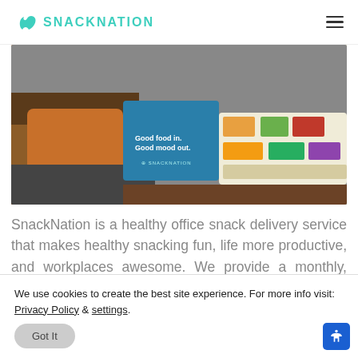SNACKNATION
[Figure (photo): Person sitting on a couch with a SnackNation box reading 'Good food in. Good mood out.' alongside a white tray full of packaged snacks and healthy food items.]
SnackNation is a healthy office snack delivery service that makes healthy snacking fun, life more productive, and workplaces awesome. We provide a monthly, curated selection of healthy snacks from the hottest most
We use cookies to create the best site experience. For more info visit: Privacy Policy & settings.
Got It